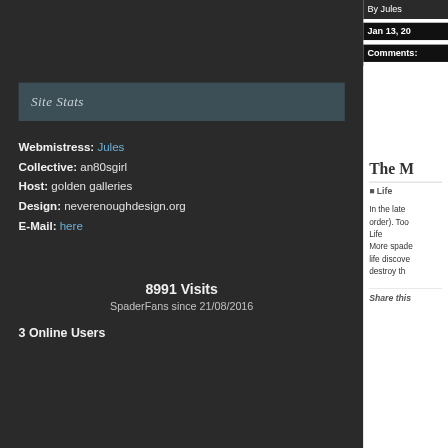By Jules | Jan 13, 20... | Comments:
Site Stats
Webmistress: Jules
Collective: an80sgirl
Host: golden galleries
Design: neverenoughdesign.org
E-Mail: here
8991 Visits
SpaderFans since 21/08/2016
3 Online Users
The M...
Life
In the late... order). Too Life More spade... life discove... destroy th...
Share this